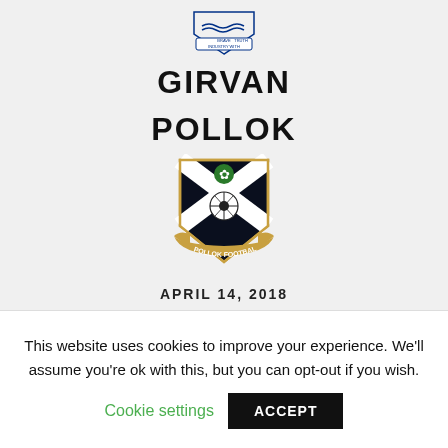[Figure (logo): Girvan FC crest logo with waves, banner text BRAVE TRUTH and INDUSTRY WITH]
GIRVAN
POLLOK
[Figure (logo): Pollok Football Club crest — black shield with white saltire cross, football, gold banner reading POLLOK FOOTBALL CLUB]
APRIL 14, 2018
0  5
This website uses cookies to improve your experience. We'll assume you're ok with this, but you can opt-out if you wish.
Cookie settings
ACCEPT